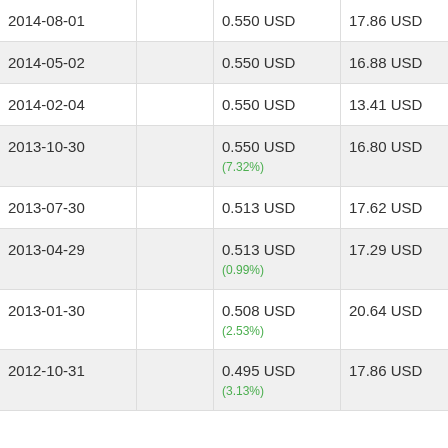| 2014-08-01 |  | 0.550 USD | 17.86 USD | 57.80 USD |
| 2014-05-02 |  | 0.550 USD | 16.88 USD | 55.10 USD |
| 2014-02-04 |  | 0.550 USD | 13.41 USD | 44.20 USD |
| 2013-10-30 |  | 0.550 USD
(7.32%) | 16.80 USD | 56.10 USD |
| 2013-07-30 |  | 0.513 USD | 17.62 USD | 59.40 USD |
| 2013-04-29 |  | 0.513 USD
(0.99%) | 17.29 USD | 58.80 USD |
| 2013-01-30 |  | 0.508 USD
(2.53%) | 20.64 USD | 70.80 USD |
| 2012-10-31 |  | 0.495 USD
(3.13%) | 17.86 USD | 61.70 USD |